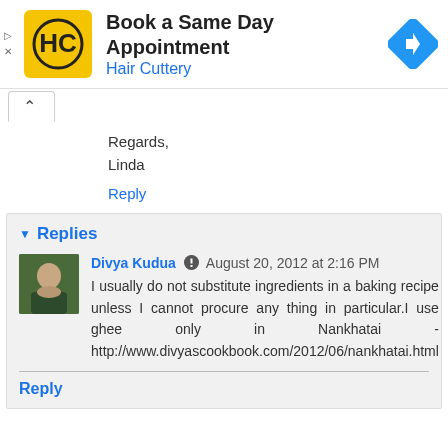[Figure (screenshot): Ad banner for Hair Cuttery: 'Book a Same Day Appointment' with logo and navigation icon]
Regards,
Linda
Reply
Replies
Divya Kudua  August 20, 2012 at 2:16 PM
I usually do not substitute ingredients in a baking recipe unless I cannot procure any thing in particular.I use ghee only in Nankhatai - http://www.divyascookbook.com/2012/06/nankhatai.html
Reply